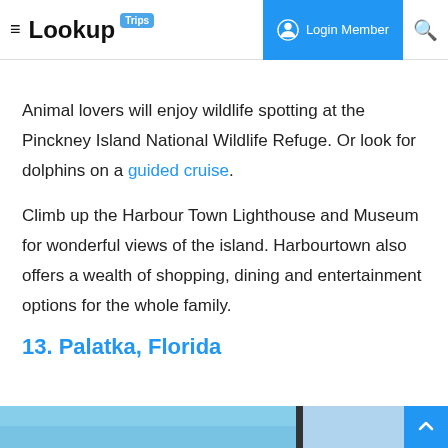≡ LookupTrips Login Member 🔍
Animal lovers will enjoy wildlife spotting at the Pinckney Island National Wildlife Refuge. Or look for dolphins on a guided cruise.
Climb up the Harbour Town Lighthouse and Museum for wonderful views of the island. Harbourtown also offers a wealth of shopping, dining and entertainment options for the whole family.
13. Palatka, Florida
[Figure (photo): Bottom strip showing a partial water/sky scene with a dark divider]